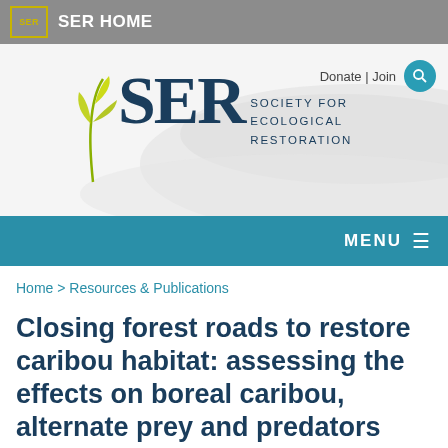SER HOME
[Figure (logo): Society for Ecological Restoration (SER) logo with yellow-green leaf motif and teal text, with Donate | Join and search button in top right]
MENU
Home > Resources & Publications
Closing forest roads to restore caribou habitat: assessing the effects on boreal caribou, alternate prey and predators